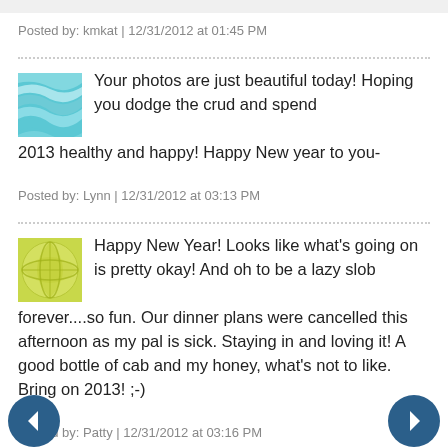Posted by: kmkat | 12/31/2012 at 01:45 PM
Your photos are just beautiful today! Hoping you dodge the crud and spend 2013 healthy and happy! Happy New year to you-
Posted by: Lynn | 12/31/2012 at 03:13 PM
Happy New Year! Looks like what's going on is pretty okay! And oh to be a lazy slob forever....so fun. Our dinner plans were cancelled this afternoon as my pal is sick. Staying in and loving it! A good bottle of cab and my honey, what's not to like. Bring on 2013! ;-)
Posted by: Patty | 12/31/2012 at 03:16 PM